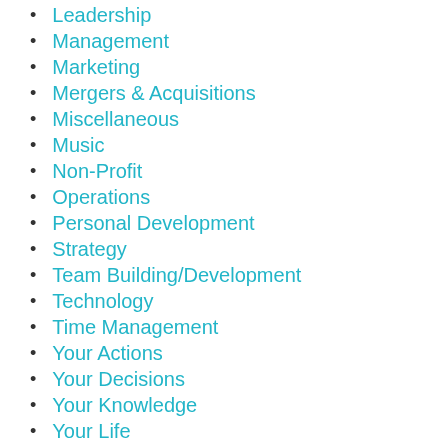Leadership
Management
Marketing
Mergers & Acquisitions
Miscellaneous
Music
Non-Profit
Operations
Personal Development
Strategy
Team Building/Development
Technology
Time Management
Your Actions
Your Decisions
Your Knowledge
Your Life
Your Relationships
Your Words